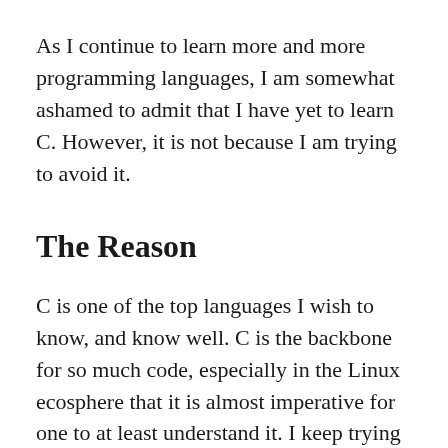As I continue to learn more and more programming languages, I am somewhat ashamed to admit that I have yet to learn C. However, it is not because I am trying to avoid it.
The Reason
C is one of the top languages I wish to know, and know well. C is the backbone for so much code, especially in the Linux ecosphere that it is almost imperative for one to at least understand it. I keep trying to poke my head into open source projects,